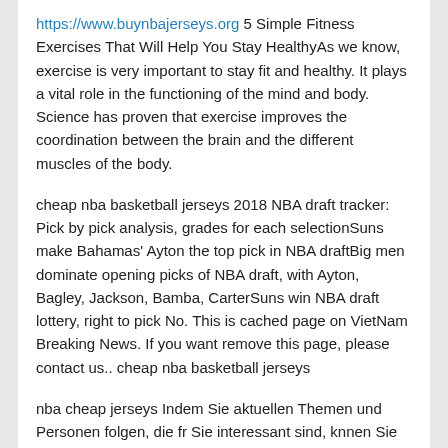https://www.buynbajerseys.org 5 Simple Fitness Exercises That Will Help You Stay HealthyAs we know, exercise is very important to stay fit and healthy. It plays a vital role in the functioning of the mind and body. Science has proven that exercise improves the coordination between the brain and the different muscles of the body.
cheap nba basketball jerseys 2018 NBA draft tracker: Pick by pick analysis, grades for each selectionSuns make Bahamas' Ayton the top pick in NBA draftBig men dominate opening picks of NBA draft, with Ayton, Bagley, Jackson, Bamba, CarterSuns win NBA draft lottery, right to pick No. This is cached page on VietNam Breaking News. If you want remove this page, please contact us.. cheap nba basketball jerseys
nba cheap jerseys Indem Sie aktuellen Themen und Personen folgen, die fr Sie interessant sind, knnen Sie wertvolle Inspirationen fr Ihre eigene Arbeit gewinnen. Nutzen Sie auerdem ein gutes Media Monitoring um stets im Blick zu behalten, was andere ber Ihr Unternehmen,